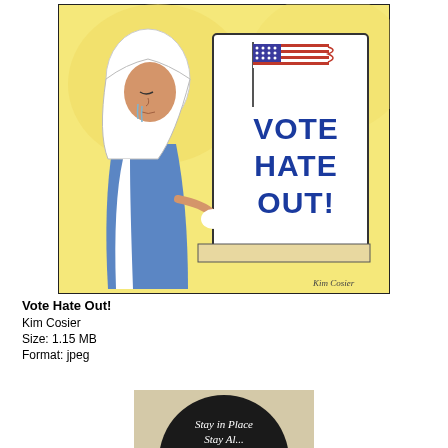[Figure (illustration): Hand-drawn illustration of a woman wearing a white hijab and blue dress, standing at a voting booth holding a sign that reads 'VOTE HATE OUT!' with an American flag depicted on the sign. Signed 'Kim Cosier' in the bottom right corner.]
Vote Hate Out!
Kim Cosier
Size: 1.15 MB
Format: jpeg
[Figure (illustration): Partial view of a circular illustration with a dark center and text reading 'Stay in Place Stay Al...' on a beige background.]